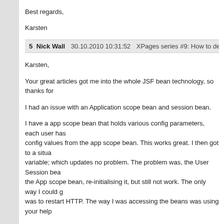Best regards,
Karsten
5  Nick Wall  30.10.2010 10:31:52  XPages series #9: How to debug an XPa
Karsten,
Your great articles got me into the whole JSF bean technology, so thanks for
I had an issue with an Application scope bean and session bean.
I have a app scope bean that holds various config parameters, each user has config values from the app scope bean. This works great. I then got to a situation; variable; which updates no problem. The problem was, the User Session bea the App scope bean, re-initialising it, but still not work. The only way I could g was to restart HTTP. The way I was accessing the beans was using your help
I did some digging:
{ Link }
..I don't think the Domino JSF engine supports ValueExpression, but I change this meant also changing DominoAccess.JSFUtil.getBindingValue("#{MyAppS DominoAccess.JSFUtil.getBindingValue("MyAppScopeBean");
This now gets a "fresh" pointer to the App Scope bean, and any chnages to A admit that I don't understand how String.format() causes the same call to dec string...?
Do you see\ know any issues getting access to beans this way?